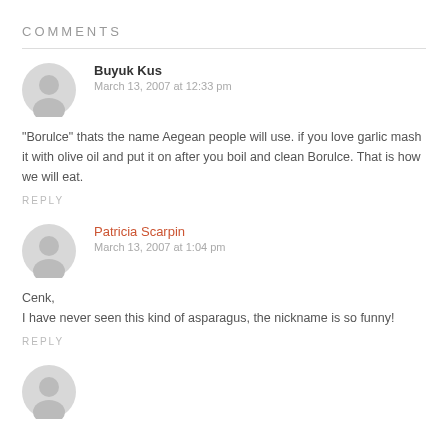COMMENTS
Buyuk Kus
March 13, 2007 at 12:33 pm
"Borulce" thats the name Aegean people will use. if you love garlic mash it with olive oil and put it on after you boil and clean Borulce. That is how we will eat.
REPLY
Patricia Scarpin
March 13, 2007 at 1:04 pm
Cenk,
I have never seen this kind of asparagus, the nickname is so funny!
REPLY